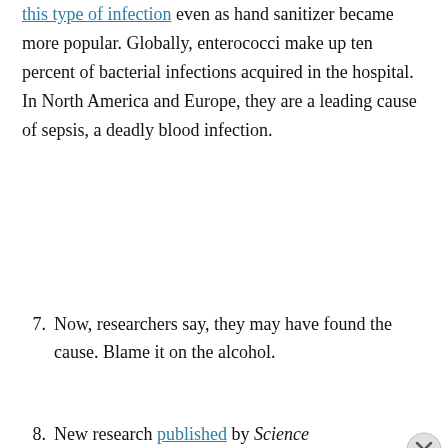this type of infection [link] even as hand sanitizer became more popular. Globally, enterococci make up ten percent of bacterial infections acquired in the hospital. In North America and Europe, they are a leading cause of sepsis, a deadly blood infection.
7. Now, researchers say, they may have found the cause. Blame it on the alcohol.
8. New research published [link] by Science Translational Medicine on Wednesday...
Advertisements
[Figure (infographic): Advertisement banner with dark navy background. Shows a person icon in a white circle, green text reading 'Turn your blog into a money-making online course.' and a white arrow pointing right.]